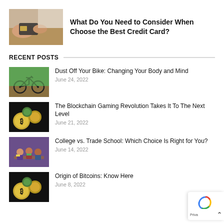[Figure (photo): Hands holding a credit card near a table]
What Do You Need to Consider When Choose the Best Credit Card?
RECENT POSTS
[Figure (photo): Bicycle leaning against trees in a park]
Dust Off Your Bike: Changing Your Body and Mind
June 24, 2022
[Figure (photo): Cryptocurrency coins including Bitcoin on dark background]
The Blockchain Gaming Revolution Takes It To The Next Level
June 21, 2022
[Figure (photo): Group of students at a table studying]
College vs. Trade School: Which Choice Is Right for You?
June 14, 2022
[Figure (photo): Cryptocurrency coins including Bitcoin on dark background]
Origin of Bitcoins: Know Here
June 8, 2022